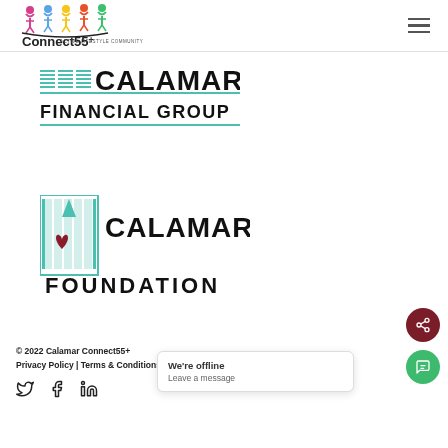Connect55+ Active Lifestyle Community
[Figure (logo): Calamar Financial Group logo with teal grid icon and bold black text]
[Figure (logo): Calamar Foundation logo with teal building/heart icon and bold black text]
© 2022 Calamar Connect55+
Privacy Policy | Terms & Conditions
[Figure (illustration): Twitter, Facebook, LinkedIn social media icons]
We're offline
Leave a message